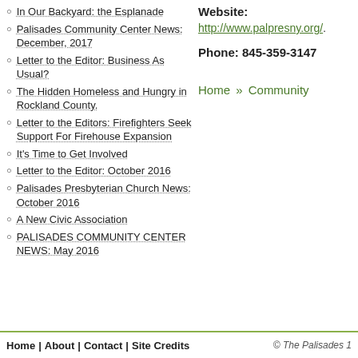In Our Backyard: the Esplanade
Palisades Community Center News: December, 2017
Letter to the Editor: Business As Usual?
The Hidden Homeless and Hungry in Rockland County.
Letter to the Editors: Firefighters Seek Support For Firehouse Expansion
It's Time to Get Involved
Letter to the Editor: October 2016
Palisades Presbyterian Church News: October 2016
A New Civic Association
PALISADES COMMUNITY CENTER NEWS: May 2016
Website: http://www.palpresny.org/.
Phone: 845-359-3147
Home » Community
Home | About | Contact | Site Credits   © The Palisades 1